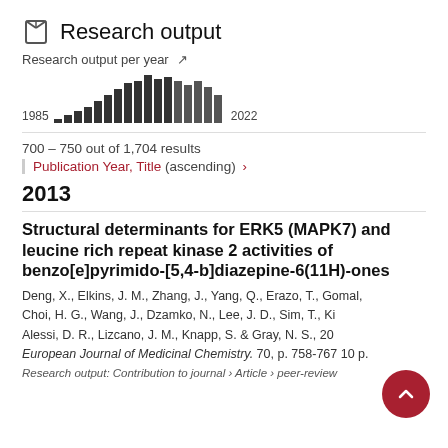Research output
[Figure (bar-chart): Research output per year]
700 – 750 out of 1,704 results
Publication Year, Title (ascending) ›
2013
Structural determinants for ERK5 (MAPK7) and leucine rich repeat kinase 2 activities of benzo[e]pyrimido-[5,4-b]diazepine-6(11H)-ones
Deng, X., Elkins, J. M., Zhang, J., Yang, Q., Erazo, T., Gomaral, Choi, H. G., Wang, J., Dzamko, N., Lee, J. D., Sim, T., Ki, Alessi, D. R., Lizcano, J. M., Knapp, S. & Gray, N. S., 201, European Journal of Medicinal Chemistry. 70, p. 758-767 10 p. Research output: Contribution to journal · Article · peer-review